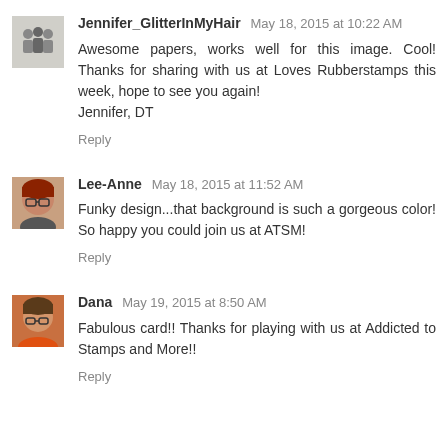[Figure (photo): Avatar thumbnail showing silhouettes of people, grayscale blog avatar for Jennifer_GlitterInMyHair]
Jennifer_GlitterInMyHair May 18, 2015 at 10:22 AM
Awesome papers, works well for this image. Cool! Thanks for sharing with us at Loves Rubberstamps this week, hope to see you again!
Jennifer, DT
Reply
[Figure (photo): Avatar photo of Lee-Anne, woman with red hair and glasses]
Lee-Anne May 18, 2015 at 11:52 AM
Funky design...that background is such a gorgeous color! So happy you could join us at ATSM!
Reply
[Figure (photo): Avatar photo of Dana, woman with glasses and orange top]
Dana May 19, 2015 at 8:50 AM
Fabulous card!! Thanks for playing with us at Addicted to Stamps and More!!
Reply